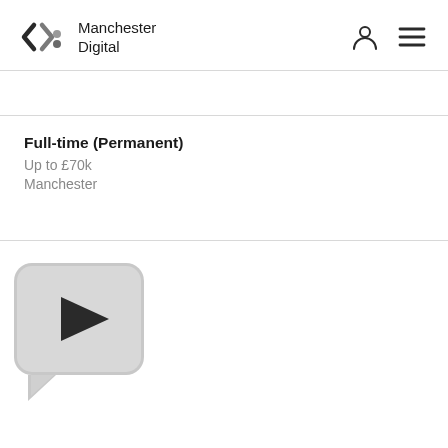Manchester Digital
Full-time (Permanent)
Up to £70k
Manchester
[Figure (other): Video/media player button with a play triangle icon on a rounded square grey background with a speech-bubble-style tail at the bottom left]